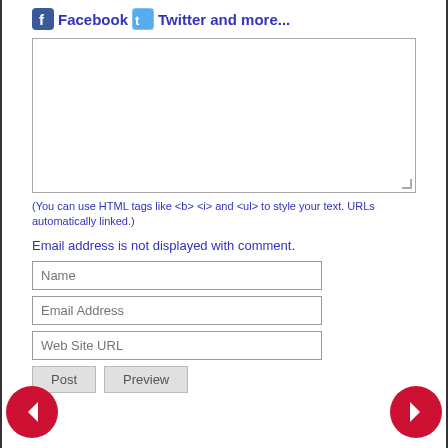[Figure (logo): Facebook and Twitter social icons with text 'Facebook Twitter and more...']
[Figure (screenshot): Empty comment text area input box]
(You can use HTML tags like <b> <i> and <ul> to style your text. URLs automatically linked.)
Email address is not displayed with comment.
[Figure (screenshot): Name input field]
[Figure (screenshot): Email Address input field]
[Figure (screenshot): Web Site URL input field]
[Figure (screenshot): Post and Preview buttons]
[Figure (other): Left navigation arrow (red circle with white left arrow)]
[Figure (other): Right navigation arrow (red circle with white right arrow)]